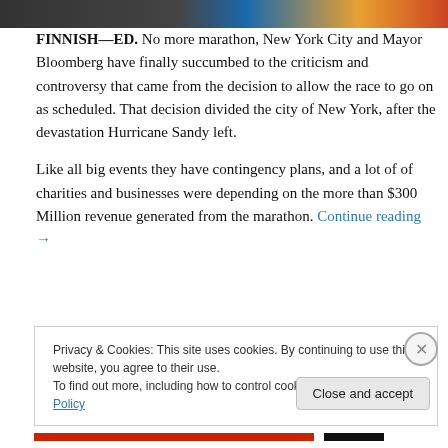[Figure (photo): Partial image at top of page showing colorful graphic with blue, orange, and dark tones]
FINNISH—ED. No more marathon, New York City and Mayor Bloomberg have finally succumbed to the criticism and controversy that came from the decision to allow the race to go on as scheduled. That decision divided the city of New York, after the devastation Hurricane Sandy left.
Like all big events they have contingency plans, and a lot of of charities and businesses were depending on the more than $300 Million revenue generated from the marathon. Continue reading →
Privacy & Cookies: This site uses cookies. By continuing to use this website, you agree to their use.
To find out more, including how to control cookies, see here: Cookie Policy